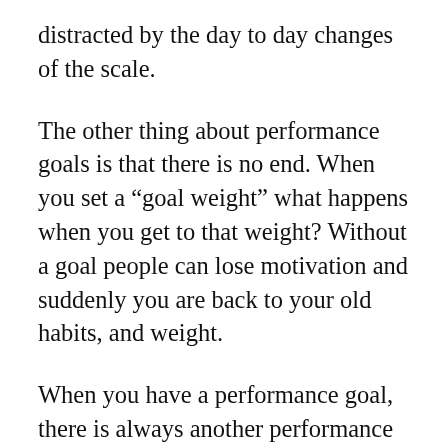distracted by the day to day changes of the scale.
The other thing about performance goals is that there is no end. When you set a “goal weight” what happens when you get to that weight? Without a goal people can lose motivation and suddenly you are back to your old habits, and weight.
When you have a performance goal, there is always another performance goal to move on to. For example, if you hit your push up goal, you can then either set the goal to be able to do